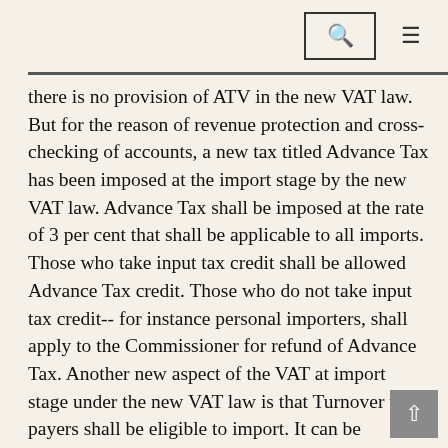[search icon] [menu icon]
there is no provision of ATV in the new VAT law. But for the reason of revenue protection and cross-checking of accounts, a new tax titled Advance Tax has been imposed at the import stage by the new VAT law. Advance Tax shall be imposed at the rate of 3 per cent that shall be applicable to all imports. Those who take input tax credit shall be allowed Advance Tax credit. Those who do not take input tax credit-- for instance personal importers, shall apply to the Commissioner for refund of Advance Tax. Another new aspect of the VAT at import stage under the new VAT law is that Turnover tax-payers shall be eligible to import. It can be mentioned here that under the present VAT law, Turnover tax-payers are not allowed to import. Turnover tax-payers pay 3 per cent Turnover Tax